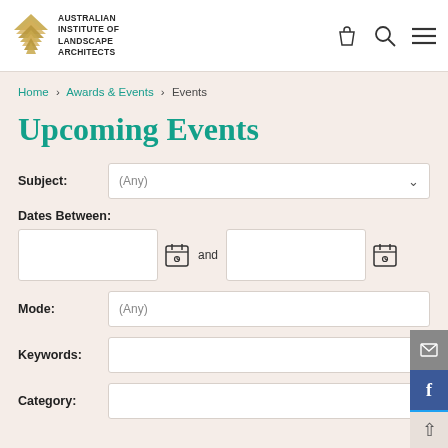Australian Institute of Landscape Architects
Home > Awards & Events > Events
Upcoming Events
Subject: (Any)
Dates Between:
Mode: (Any)
Keywords:
Category: